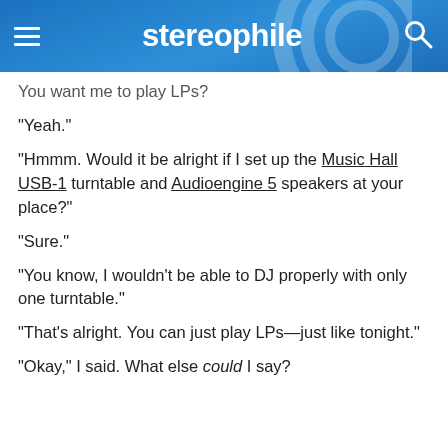stereophile
You want me to play LPs?
"Yeah."
"Hmmm. Would it be alright if I set up the Music Hall USB-1 turntable and Audioengine 5 speakers at your place?"
"Sure."
"You know, I wouldn't be able to DJ properly with only one turntable."
"That's alright. You can just play LPs—just like tonight."
"Okay," I said. What else could I say?